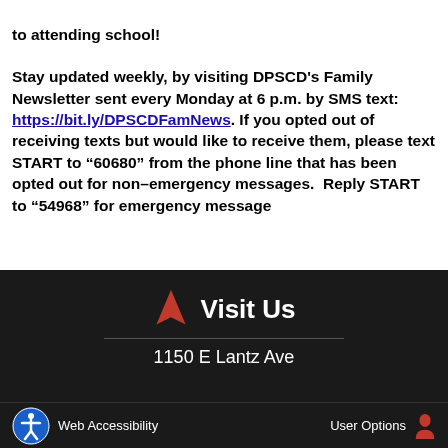to attending school! Stay updated weekly, by visiting DPSCD's Family Newsletter sent every Monday at 6 p.m. by SMS text: https://bit.ly/DPSCDFamNews. If you opted out of receiving texts but would like to receive them, please text START to "60680" from the phone line that has been opted out for non–emergency messages.  Reply START to "54968" for emergency message
Visit Us
1150 E Lantz Ave
Web Accessibility   User Options